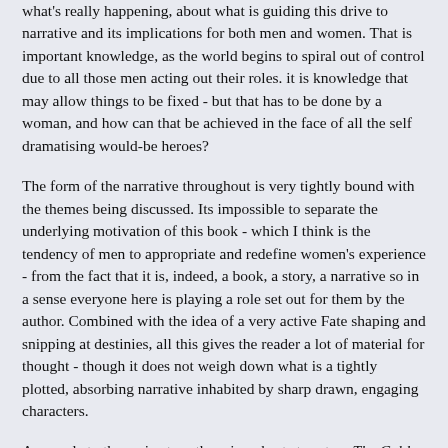what's really happening, about what is guiding this drive to narrative and its implications for both men and women. That is important knowledge, as the world begins to spiral out of control due to all those men acting out their roles. it is knowledge that may allow things to be fixed - but that has to be done by a woman, and how can that be achieved in the face of all the self dramatising would-be heroes?
The form of the narrative throughout is very tightly bound with the themes being discussed. Its impossible to separate the underlying motivation of this book - which I think is the tendency of men to appropriate and redefine women's experience - from the fact that it is, indeed, a book, a story, a narrative so in a sense everyone here is playing a role set out for them by the author. Combined with the idea of a very active Fate shaping and snipping at destinies, all this gives the reader a lot of material for thought - though it does not weigh down what is a tightly plotted, absorbing narrative inhabited by sharp drawn, engaging characters.
As a coda to the main story there is a short story too, The Cold Smoke Declaration, taking place in the same world but some time after the main events. The themes are slightly different - it is more